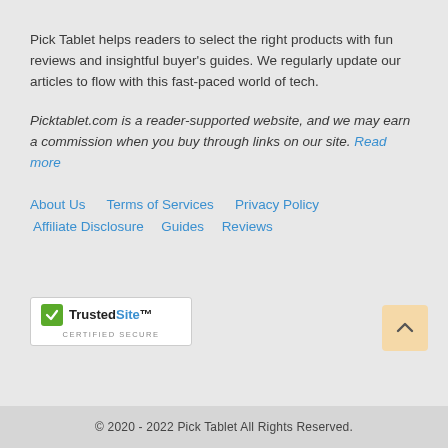Pick Tablet helps readers to select the right products with fun reviews and insightful buyer's guides. We regularly update our articles to flow with this fast-paced world of tech.
Picktablet.com is a reader-supported website, and we may earn a commission when you buy through links on our site. Read more
About Us   Terms of Services   Privacy Policy   Affiliate Disclosure   Guides   Reviews
[Figure (logo): TrustedSite Certified Secure badge — green checkmark icon with 'TrustedSite' text and 'CERTIFIED SECURE' label]
© 2020 - 2022 Pick Tablet All Rights Reserved.